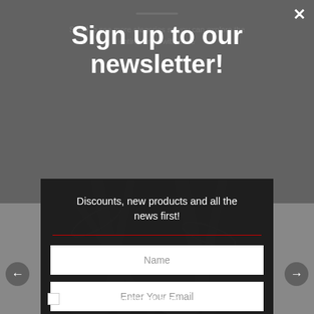Scroll to see more categories so you can explore the entire range with ease
Sign up to our newsletter!
Discounts, new products and all the news first!
Name
Enter Your Email
SIGN UP NOW
Close and do not show it again